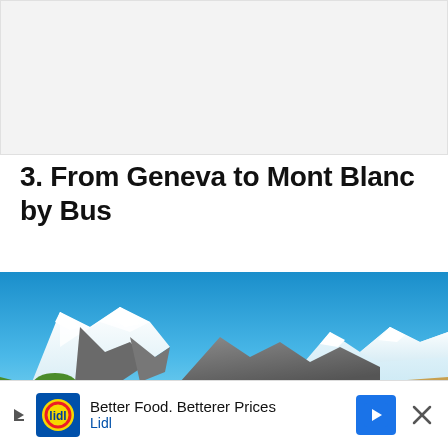[Figure (other): Light gray placeholder rectangle representing a previous section image or ad space at the top of the page]
3. From Geneva to Mont Blanc by Bus
[Figure (photo): Panoramic photograph of Mont Blanc mountain range with snow-capped peaks, green alpine meadows in the foreground, and a bright blue sky]
[Figure (other): Advertisement banner for Lidl: 'Better Food. Betterer Prices' with Lidl logo, navigation icon, and close button]